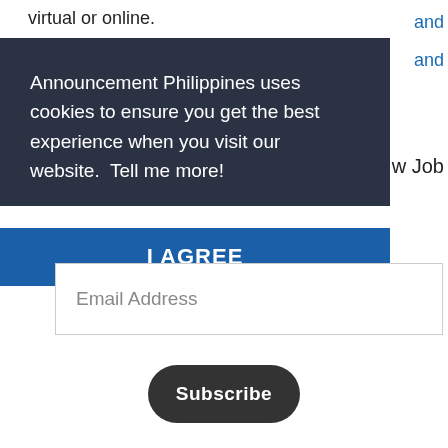virtual or online.
and
Announcement Philippines uses cookies to ensure you get the best experience when you visit our website.  Tell me more!
w Job
I AGREE
Email Address
Subscribe